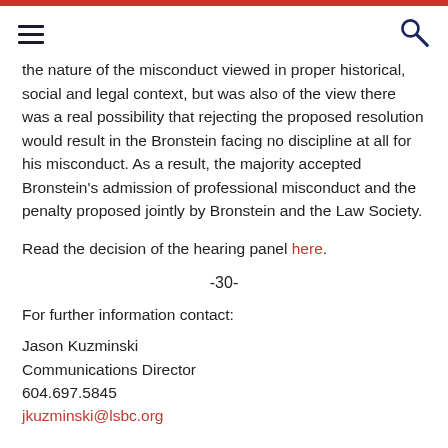[navigation bar with hamburger menu and search icon]
the nature of the misconduct viewed in proper historical, social and legal context, but was also of the view there was a real possibility that rejecting the proposed resolution would result in the Bronstein facing no discipline at all for his misconduct. As a result, the majority accepted Bronstein's admission of professional misconduct and the penalty proposed jointly by Bronstein and the Law Society.
Read the decision of the hearing panel here.
-30-
For further information contact:
Jason Kuzminski
Communications Director
604.697.5845
jkuzminski@lsbc.org